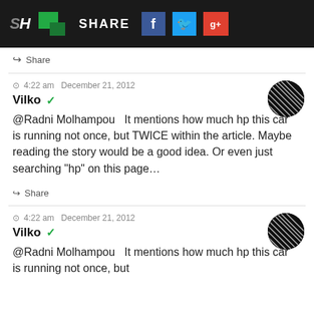SH | SHARE (social share bar with Facebook, Twitter, Google+ icons)
Share
4:22 am  December 21, 2012
Vilko ✓
@Radni Molhampou   It mentions how much hp this car is running not once, but TWICE within the article. Maybe reading the story would be a good idea. Or even just searching "hp" on this page…
Share
4:22 am  December 21, 2012
Vilko ✓
@Radni Molhampou   It mentions how much hp this car is running not once, but